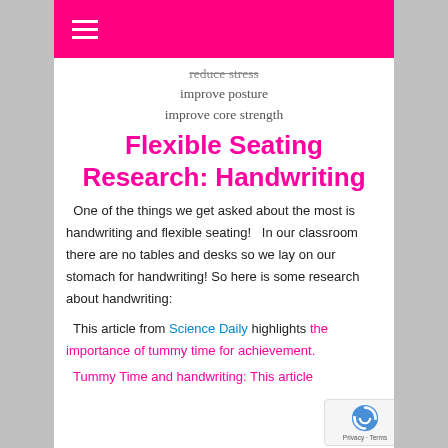≡ (hamburger menu)
reduce stress
improve posture
improve core strength
Flexible Seating Research:  Handwriting
One of the things we get asked about the most is handwriting and flexible seating!   In our classroom there are no tables and desks so we lay on our stomach for handwriting! So here is some research about handwriting:
This article from Science Daily highlights the importance of tummy time for achievement.
Tummy Time and handwriting: This article...